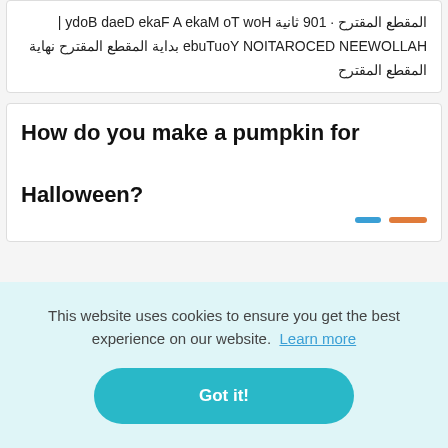المقطع المقترح · 109 ثانية How To Make A Fake Dead Body | HALLOWEEN DECORATION YouTube بداية المقطع المقترح نهاية المقطع المقترح
How do you make a pumpkin for Halloween?
This website uses cookies to ensure you get the best experience on our website. Learn more
Got it!